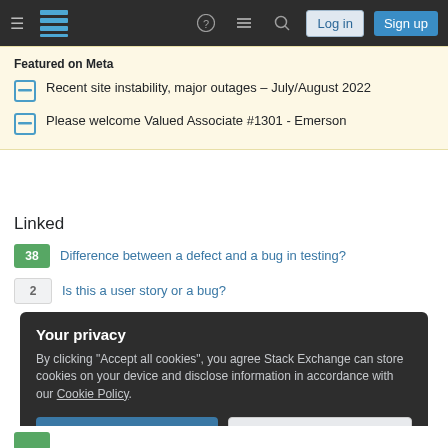Stack Exchange navigation bar with hamburger menu, logo, help, chat, search icons, Log in and Sign up buttons
Featured on Meta
Recent site instability, major outages – July/August 2022
Please welcome Valued Associate #1301 - Emerson
Linked
38 — Difference between a defect and a bug in testing?
2 — Is this a user story or a bug?
Your privacy
By clicking "Accept all cookies", you agree Stack Exchange can store cookies on your device and disclose information in accordance with our Cookie Policy.
Accept all cookies | Customize settings